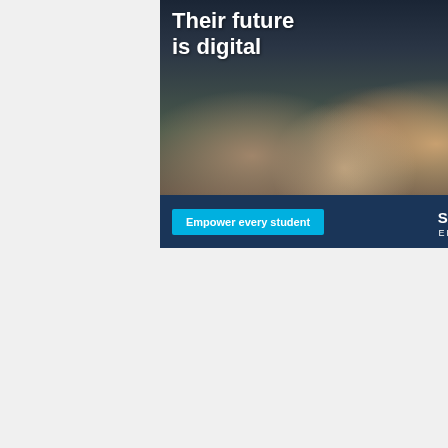[Figure (photo): Advertisement showing three middle school students smiling and using tablets in a classroom, with text overlay 'Their future is digital' and a call-to-action button 'Empower every student' with Spectrum Enterprise logo]
[Figure (photo): Second advertisement on dark navy background with large outlined text reading 'LET'S EMPOWER THEIR FUTURE' in light blue outline style, from Spectrum Enterprise. Has a close (X) button in top right corner.]